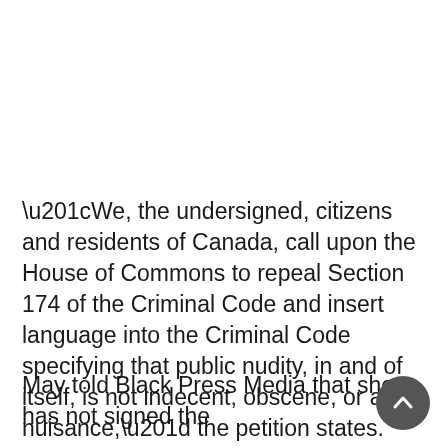“We, the undersigned, citizens and residents of Canada, call upon the House of Commons to repeal Section 174 of the Criminal Code and insert language into the Criminal Code specifying that public nudity, in and of itself, is not indecent, obscene, or a nuisance,” the petition states.
May told Black Press Media that she has not signed the petition, but she has agreed to co-sponsor it as an MP...